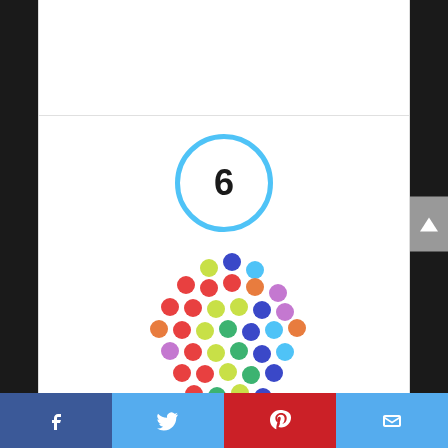[Figure (other): Number 6 inside a light blue circle border]
[Figure (photo): Colorful rounded pin magnets arranged in a cluster shape, showing many colors including red, yellow, green, blue, pink, purple, orange]
Rounded Pin Magnets – Functional and Modern – Unique Colors – Pack of 50
By Kit